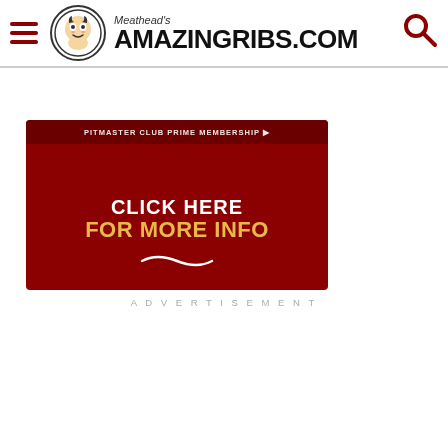Meathead's AmazingRibs.com
[Figure (infographic): Advertisement banner for Pitmaster Club Prime Membership with dark red background, white text 'CLICK HERE' and yellow bold text 'FOR MORE INFO' with a white swirl decoration]
ADVERTISEMENT